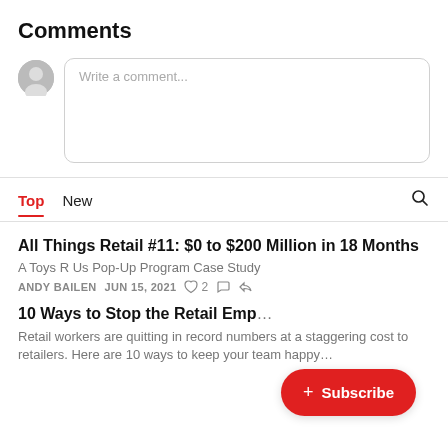Comments
[Figure (screenshot): Comment input area with avatar icon and rounded text box with placeholder 'Write a comment...']
Top   New
All Things Retail #11: $0 to $200 Million in 18 Months
A Toys R Us Pop-Up Program Case Study
ANDY BAILEN  JUN 15, 2021  ♡ 2
10 Ways to Stop the Retail Emp...
Retail workers are quitting in record numbers at a staggering cost to retailers. Here are 10 ways to keep your team happy...